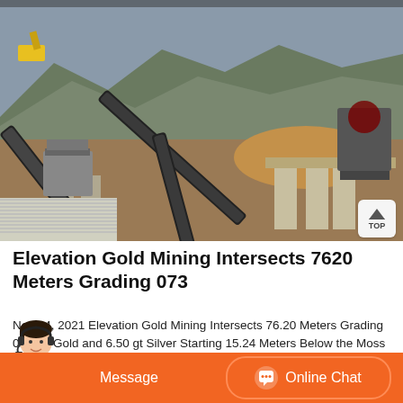[Figure (photo): Mining equipment and conveyor belts at an open-pit mining operation with mountains in the background]
Elevation Gold Mining Intersects 7620 Meters Grading 073
Nov 04, 2021 Elevation Gold Mining Intersects 76.20 Meters Grading 0.73 gt Gold and 6.50 gt Silver Starting 15.24 Meters Below the Moss ... Center Pit.